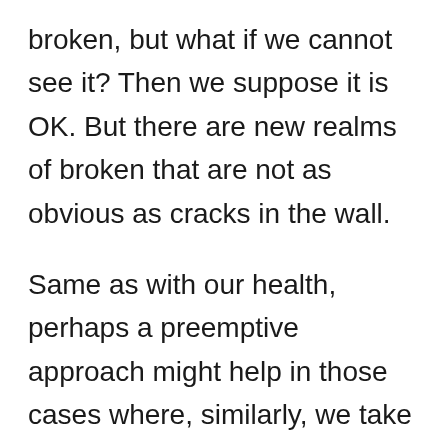broken, but what if we cannot see it? Then we suppose it is OK. But there are new realms of broken that are not as obvious as cracks in the wall.

Same as with our health, perhaps a preemptive approach might help in those cases where, similarly, we take some doses of vitamin C to prevent a cold, as usually we cannot see we're already infected, days before we can see we're broken. (!!!)